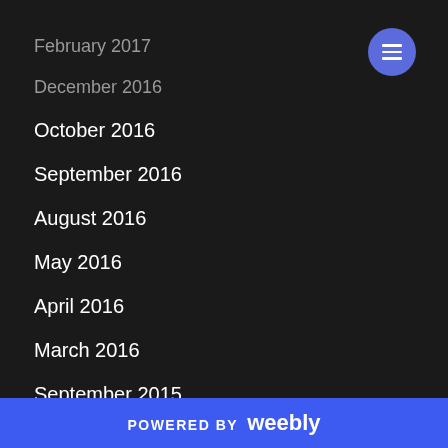February 2017
December 2016
October 2016
September 2016
August 2016
May 2016
April 2016
March 2016
September 2015
August 2015
July 2015
POWERED BY weebly